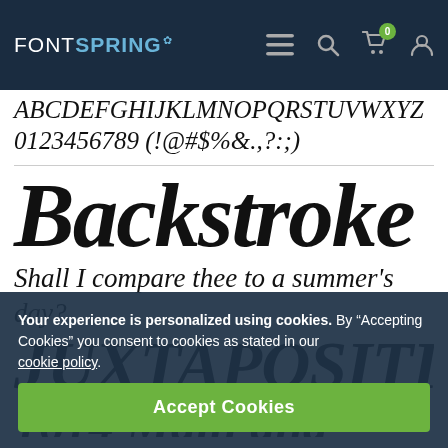FONTSPRING - navigation bar with menu, search, cart (0), and user icons
ABCDEFGHIJKLMNOPQRSTUVWXYZ 0123456789 (!@#$%&.,?:;)
Backstroke
Shall I compare thee to a summer's day?
JUXTAPOSITION
1614 Main and 0600 Pt. 41-778
Your experience is personalized using cookies. By "Accepting Cookies" you consent to cookies as stated in our cookie policy.
Accept Cookies